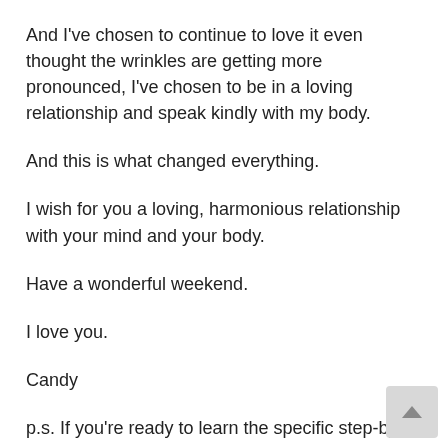And I've chosen to continue to love it even thought the wrinkles are getting more pronounced, I've chosen to be in a loving relationship and speak kindly with my body.
And this is what changed everything.
I wish for you a loving, harmonious relationship with your mind and your body.
Have a wonderful weekend.
I love you.
Candy
p.s. If you're ready to learn the specific step-by-step process to love, listen to and be in partnership with body to lose the over-40 weight, CLICK HERE TO